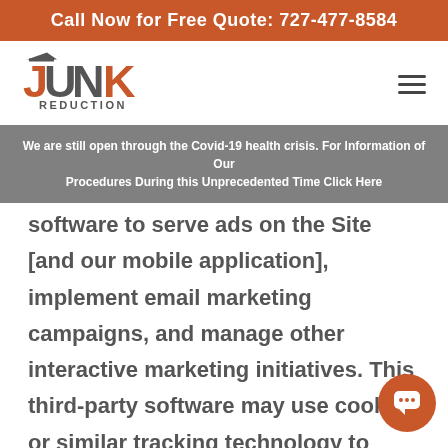Call Now for Free Quote: 727-477-8584
[Figure (logo): Junk Reduction company logo in orange and dark text]
We are still open through the Covid-19 health crisis. For Information of Our Procedures During this Unprecedented Time Click Here
software to serve ads on the Site [and our mobile application], implement email marketing campaigns, and manage other interactive marketing initiatives. This third-party software may use cookies or similar tracking technology to help manage and